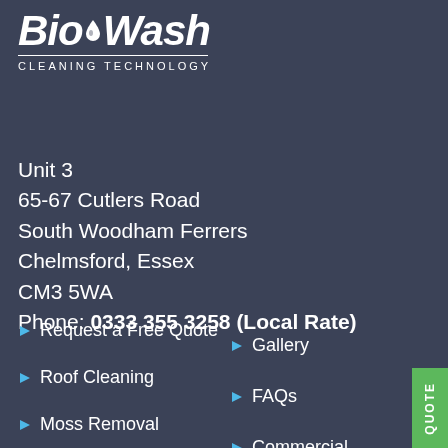[Figure (logo): BioWash Cleaning Technology logo with water drop graphic, white text on dark blue background, with horizontal rule and subtitle 'CLEANING TECHNOLOGY']
Unit 3
65-67 Cutlers Road
South Woodham Ferrers
Chelmsford, Essex
CM3 5WA
Phone: 0333 355 3258 (Local Rate)
Request a Free Quote
Gallery
Roof Cleaning
FAQs
Moss Removal
Commercial
Wall & Render Cleaning
Privacy